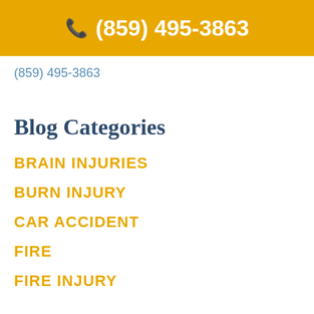(859) 495-3863
(859) 495-3863
Blog Categories
BRAIN INJURIES
BURN INJURY
CAR ACCIDENT
FIRE
FIRE INJURY